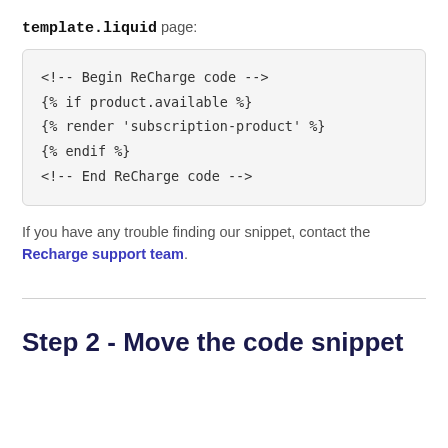template.liquid page:
<!-- Begin ReCharge code -->
{% if product.available %}
{% render 'subscription-product' %}
{% endif %}
<!-- End ReCharge code -->
If you have any trouble finding our snippet, contact the Recharge support team.
Step 2 - Move the code snippet